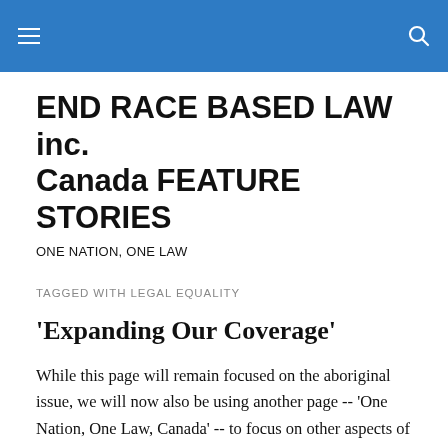END RACE BASED LAW inc. Canada FEATURE STORIES — ONE NATION, ONE LAW
END RACE BASED LAW inc. Canada FEATURE STORIES
ONE NATION, ONE LAW
TAGGED WITH LEGAL EQUALITY
‘Expanding Our Coverage’
While this page will remain focused on the aboriginal issue, we will now also be using another page -- 'One Nation, One Law, Canada' -- to focus on other aspects of legal inequality in Canada. This will include the anti-English discrimination in Quebec and the federal civil